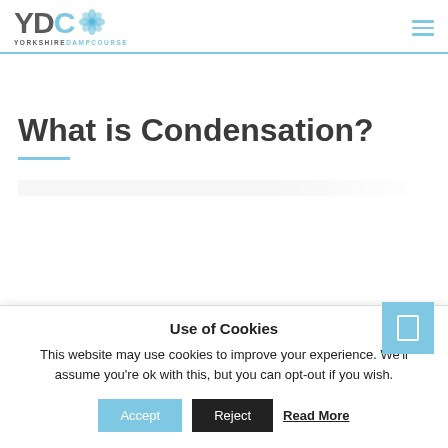YDC YORKSHIREDAMPCOURSE
What is Condensation?
Use of Cookies
This website may use cookies to improve your experience. We'll assume you're ok with this, but you can opt-out if you wish.
Accept | Reject | Read More